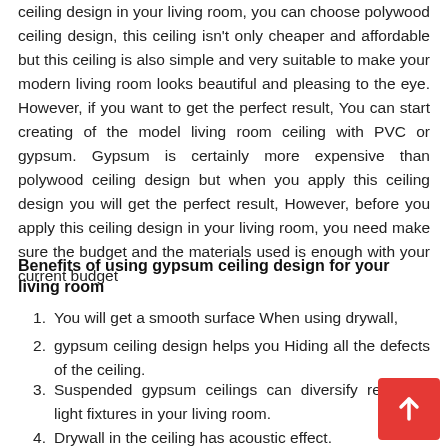ceiling design in your living room, you can choose polywood ceiling design, this ceiling isn't only cheaper and affordable but this ceiling is also simple and very suitable to make your modern living room looks beautiful and pleasing to the eye. However, if you want to get the perfect result, You can start creating of the model living room ceiling with PVC or gypsum. Gypsum is certainly more expensive than polywood ceiling design but when you apply this ceiling design you will get the perfect result, However, before you apply this ceiling design in your living room, you need make sure the budget and the materials used is enough with your current budget
Benefits of using gypsum ceiling design for your living room
You will get a smooth surface When using drywall,
gypsum ceiling design helps you Hiding all the defects of the ceiling.
Suspended gypsum ceilings can diversify recessed light fixtures in your living room.
Drywall in the ceiling has acoustic effect.